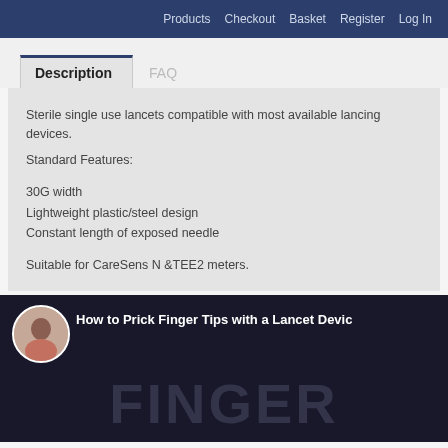Products  Checkout  Basket  Register  Log In
Description	FAQ
Sterile single use lancets compatible with most available lancing devices.
Standard Features:

30G width
Lightweight plastic/steel design
Constant length of exposed needle

Suitable for CareSens N &TEE2 meters.
[Figure (screenshot): Video thumbnail showing a woman presenting a tutorial titled 'How to Prick Finger Tips with a Lancet Device' with large background text 'FINGER']